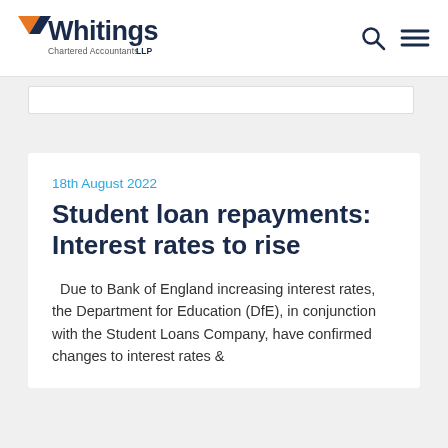[Figure (logo): Whitings Chartered Accountants LLP logo — bold sans-serif 'Whitings' text with an orange and navy triangle 'W' mark, subtitle 'Chartered Accountants LLP']
18th August 2022
Student loan repayments: Interest rates to rise
Due to Bank of England increasing interest rates, the Department for Education (DfE), in conjunction with the Student Loans Company, have confirmed changes to interest rates &